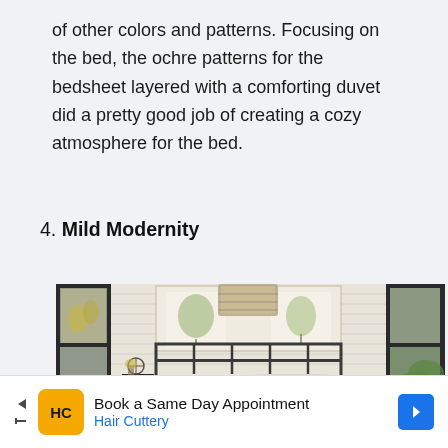of other colors and patterns. Focusing on the bed, the ochre patterns for the bedsheet layered with a comforting duvet did a pretty good job of creating a cozy atmosphere for the bed.
4. Mild Modernity
[Figure (photo): A modern bedroom interior with a metal bed frame, white bedding, botanical artwork on a shiplap wall, pendant light, and large windows showing greenery outside.]
Book a Same Day Appointment
Hair Cuttery